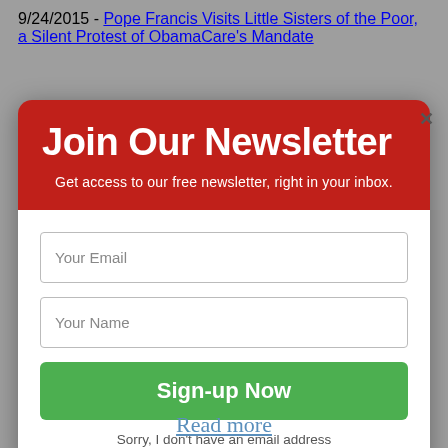9/24/2015 - Pope Francis Visits Little Sisters of the Poor, a Silent Protest of ObamaCare's Mandate
[Figure (screenshot): Newsletter signup modal overlay with red header reading 'Join Our Newsletter', subtitle 'Get access to our free newsletter, right in your inbox.', two input fields for email and name, a green 'Sign-up Now' button, and a 'Sorry, I don't have an email address' link. Background shows a grayed-out article page with 'Read more' link visible.]
Join Our Newsletter
Get access to our free newsletter, right in your inbox.
Your Email
Your Name
Sign-up Now
Sorry, I don't have an email address
Read more